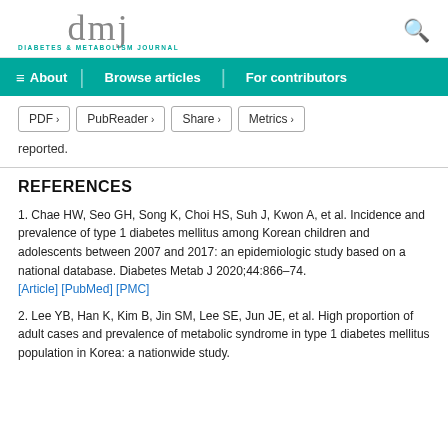dmj DIABETES & METABOLISM JOURNAL
About | Browse articles | For contributors
PDF > | PubReader > | Share > | Metrics >
reported.
REFERENCES
1. Chae HW, Seo GH, Song K, Choi HS, Suh J, Kwon A, et al. Incidence and prevalence of type 1 diabetes mellitus among Korean children and adolescents between 2007 and 2017: an epidemiologic study based on a national database. Diabetes Metab J 2020;44:866–74. [Article] [PubMed] [PMC]
2. Lee YB, Han K, Kim B, Jin SM, Lee SE, Jun JE, et al. High proportion of adult cases and prevalence of metabolic syndrome in type 1 diabetes mellitus population in Korea: a nationwide study.